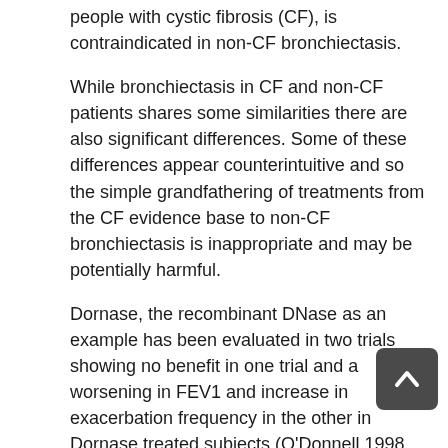people with cystic fibrosis (CF), is contraindicated in non-CF bronchiectasis.
While bronchiectasis in CF and non-CF patients shares some similarities there are also significant differences. Some of these differences appear counterintuitive and so the simple grandfathering of treatments from the CF evidence base to non-CF bronchiectasis is inappropriate and may be potentially harmful.
Dornase, the recombinant DNase as an example has been evaluated in two trials showing no benefit in one trial and a worsening in FEV1 and increase in exacerbation frequency in the other in Dornase treated subjects (O'Donnell 1998, Wills 1996). In contrast, case reports however have suggested some benefit for Dornase treatment in primary ciliary dyskinesia (Desai 1995, El-Abiad 2007).
Bronchodilators